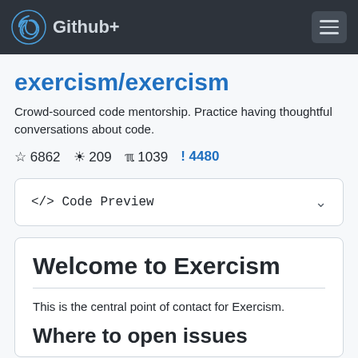Github+
exercism/exercism
Crowd-sourced code mentorship. Practice having thoughtful conversations about code.
☆ 6862  👁 209  ⑂ 1039  ! 4480
</> Code Preview
Welcome to Exercism
This is the central point of contact for Exercism.
Where to open issues